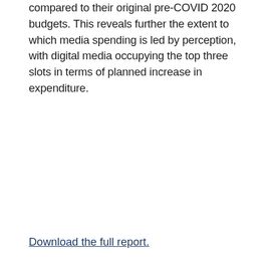compared to their original pre-COVID 2020 budgets. This reveals further the extent to which media spending is led by perception, with digital media occupying the top three slots in terms of planned increase in expenditure.
Download the full report.